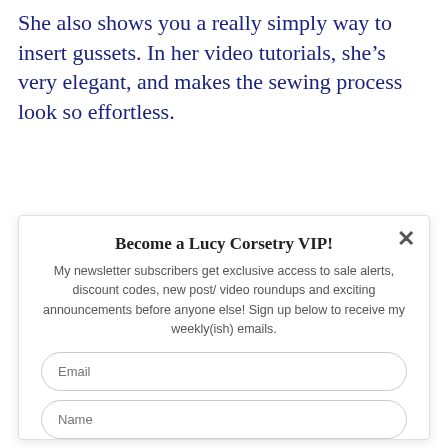She also shows you a really simply way to insert gussets. In her video tutorials, she’s very elegant, and makes the sewing process look so effortless.
Become a Lucy Corsetry VIP!
My newsletter subscribers get exclusive access to sale alerts, discount codes, new post/ video roundups and exciting announcements before anyone else! Sign up below to receive my weekly(ish) emails.
Email
Name
Opt in to receive news and updates.
SUBSCRIBE